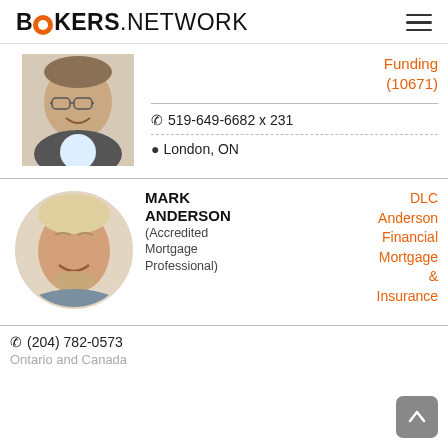BROKERS.NETWORK
[Figure (photo): Profile photo of a middle-aged man with glasses, smiling, wearing a suit jacket.]
Funding (10671)
519-649-6682 x 231
London, ON
[Figure (photo): Profile photo of a blonde man smiling, circular crop.]
MARK ANDERSON (Accredited Mortgage Professional)
DLC Anderson Financial Mortgage & Insurance
(204) 782-0573
Ontario and Canada